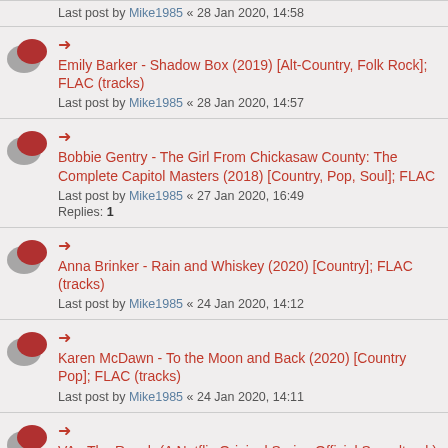Last post by Mike1985 « 28 Jan 2020, 14:58
Emily Barker - Shadow Box (2019) [Alt-Country, Folk Rock]; FLAC (tracks)
Last post by Mike1985 « 28 Jan 2020, 14:57
Bobbie Gentry - The Girl From Chickasaw County: The Complete Capitol Masters (2018) [Country, Pop, Soul]; FLAC
Last post by Mike1985 « 27 Jan 2020, 16:49
Replies: 1
Anna Brinker - Rain and Whiskey (2020) [Country]; FLAC (tracks)
Last post by Mike1985 « 24 Jan 2020, 14:12
Karen McDawn - To the Moon and Back (2020) [Country Pop]; FLAC (tracks)
Last post by Mike1985 « 24 Jan 2020, 14:11
VA - The Ranch (A Netflix Original Series Official Soundtrack) (2020) [Country]; FLAC (tracks)